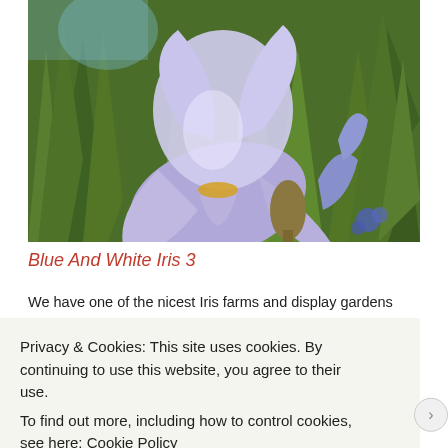[Figure (photo): Close-up photograph of a blue and white bearded iris flower with multiple blooms and green sword-like leaves in a garden setting.]
Blue And White Iris 3
We have one of the nicest Iris farms and display gardens
Privacy & Cookies: This site uses cookies. By continuing to use this website, you agree to their use.
To find out more, including how to control cookies, see here: Cookie Policy
Close and accept